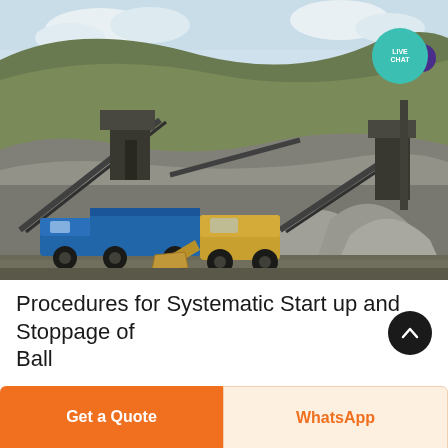[Figure (photo): Quarry or mining site with a blue dump truck and a yellow front loader/bulldozer in the foreground. In the background are large conveyor belts, industrial crushing machinery, and a steep hillside covered with vegetation. The scene depicts an active stone crushing or aggregate production facility.]
Procedures for Systematic Start up and Stoppage of Ball
Get a Quote
WhatsApp